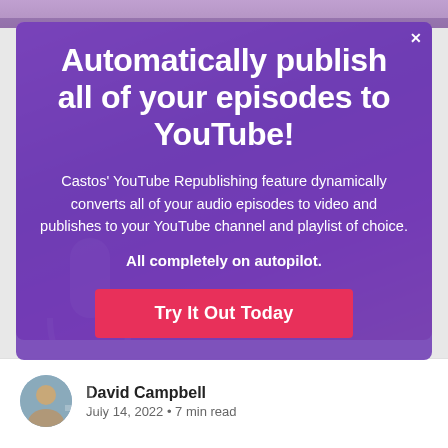[Figure (screenshot): Top image strip showing partial photo background]
Automatically publish all of your episodes to YouTube!
Castos' YouTube Republishing feature dynamically converts all of your audio episodes to video and publishes to your YouTube channel and playlist of choice.
All completely on autopilot.
Try It Out Today
David Campbell
July 14, 2022 • 7 min read